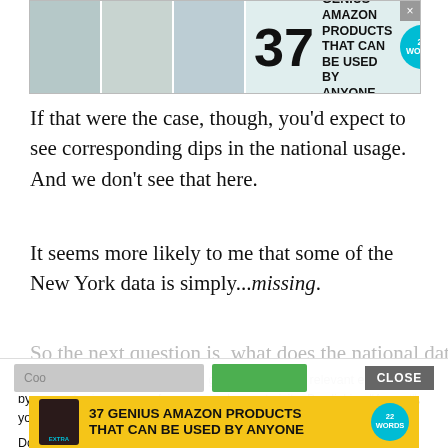[Figure (other): Advertisement banner: '37 GENIUS AMAZON PRODUCTS THAT CAN BE USED BY ANYONE' with product images and 22 Words logo badge]
If that were the case, though, you'd expect to see corresponding dips in the national usage. And we don't see that here.
It seems more likely to me that some of the New York data is simply...missing.
We use cookies on our website to give you the most relevant experience by remembering your preferences and repeat visits. By clicking “Accept”, you consent to the use of ALL the cookies.
Do not sell my personal information.
[Figure (other): Cookie consent button row with settings and accept buttons, plus CLOSE button]